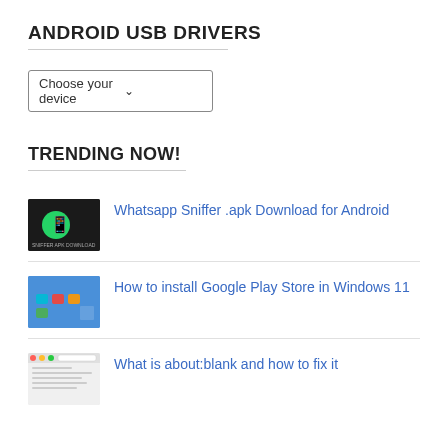ANDROID USB DRIVERS
[Figure (other): Choose your device dropdown selector]
TRENDING NOW!
[Figure (screenshot): WhatsApp Sniffer APK Download thumbnail - dark background with WhatsApp logo]
Whatsapp Sniffer .apk Download for Android
[Figure (screenshot): Windows 11 Google Play Store installation screenshot thumbnail]
How to install Google Play Store in Windows 11
[Figure (screenshot): about:blank browser screenshot thumbnail]
What is about:blank and how to fix it